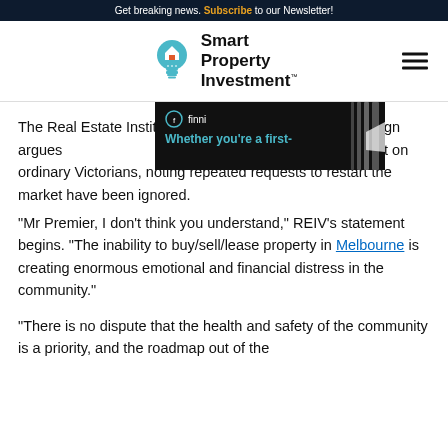Get breaking news. Subscribe to our Newsletter!
[Figure (logo): Smart Property Investment logo with lightbulb icon]
The Real Estate Institute of Victoria's (REIV) new campaign argues that the government doesn't understand the property market on ordinary Victorians, noting repeated requests to restart the market have been ignored.
[Figure (photo): Finni advertisement banner: 'Whether you're a first-']
“Mr Premier, I don’t think you understand,” REIV’s statement begins. “The inability to buy/sell/lease property in Melbourne is creating enormous emotional and financial distress in the community.”
“There is no dispute that the health and safety of the community is a priority, and the roadmap out of the